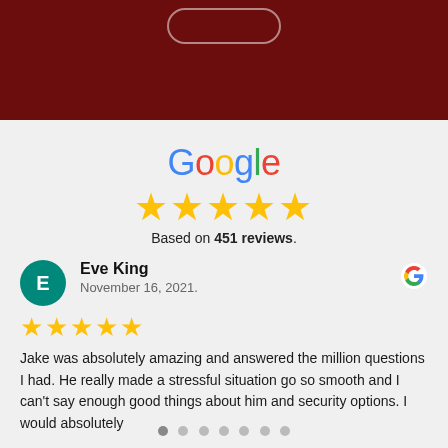[Figure (screenshot): Dark red header bar with phone notch outline at top]
[Figure (logo): Google multicolor logo text]
[Figure (infographic): 5 gold stars rating]
Based on 451 reviews.
[Figure (infographic): Reviewer avatar circle with letter E (teal background), reviewer name Eve King, date November 16, 2021, Google G icon]
[Figure (infographic): 5 gold stars for individual review]
Jake was absolutely amazing and answered the million questions I had. He really made a stressful situation go so smooth and I can't say enough good things about him and security options. I would absolutely